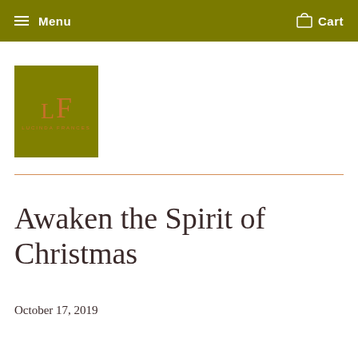Menu   Cart
[Figure (logo): Lucinda Frances logo: olive green square with orange 'L F' monogram and 'Lucinda Frances' text below]
Awaken the Spirit of Christmas
October 17, 2019